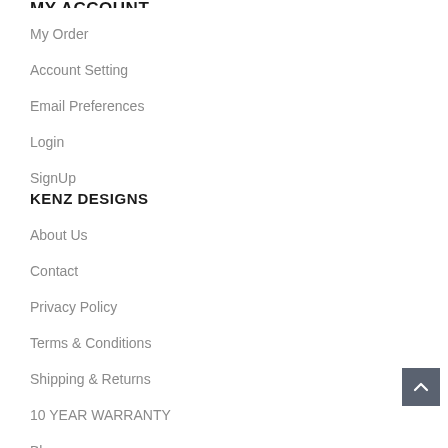My Order
Account Setting
Email Preferences
Login
SignUp
KENZ DESIGNS
About Us
Contact
Privacy Policy
Terms & Conditions
Shipping & Returns
10 YEAR WARRANTY
Blog
Trade Account
SHOP